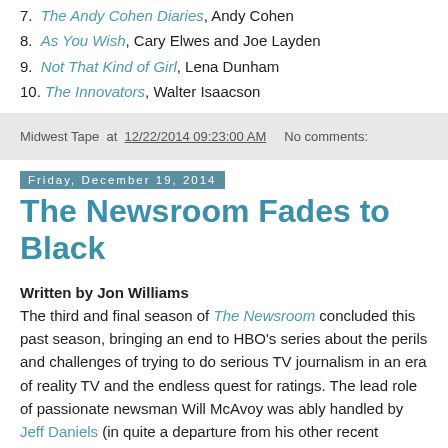7. The Andy Cohen Diaries, Andy Cohen
8. As You Wish, Cary Elwes and Joe Layden
9. Not That Kind of Girl, Lena Dunham
10. The Innovators, Walter Isaacson
Midwest Tape at 12/22/2014 09:23:00 AM   No comments:
Friday, December 19, 2014
The Newsroom Fades to Black
Written by Jon Williams
The third and final season of The Newsroom concluded this past season, bringing an end to HBO's series about the perils and challenges of trying to do serious TV journalism in an era of reality TV and the endless quest for ratings. The lead role of passionate newsman Will McAvoy was ably handled by Jeff Daniels (in quite a departure from his other recent appearance as Harry Dunne in Dumb and Dumber To), heading an ensemble cast that also included Sam